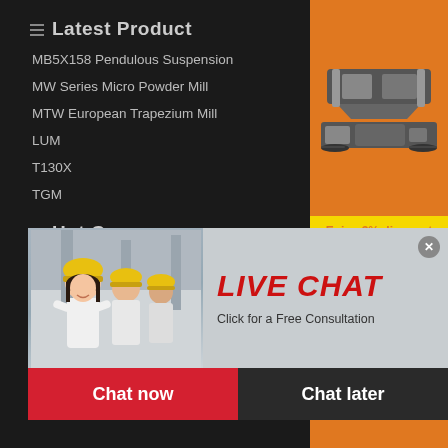Latest Product
MB5X158 Pendulous Suspension
MW Series Micro Powder Mill
MTW European Trapezium Mill
LUM
T130X
TGM
Hot Case
Used Millrite Milling Machine
SKD Stone china stone jaw crusher certified B Gost
stone crusher manufacturer in india rock crusher for sale
[Figure (infographic): Live Chat popup overlay with photo of workers in hard hats, red 'LIVE CHAT' text, 'Click for a Free Consultation' subtitle, Chat now and Chat later buttons]
[Figure (infographic): Right sidebar with orange background showing construction machinery images, yellow 'Enjoy 3% discount / Click to Chat' banner, Enquiry button, and limingjlmofen@sina.com email]